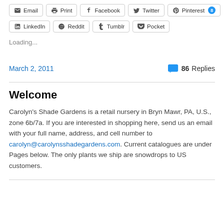[Figure (other): Social share buttons row 1: Email, Print, Facebook, Twitter, Pinterest (with badge 8)]
[Figure (other): Social share buttons row 2: LinkedIn, Reddit, Tumblr, Pocket]
Loading...
March 2, 2011
86 Replies
Welcome
Carolyn's Shade Gardens is a retail nursery in Bryn Mawr, PA, U.S., zone 6b/7a. If you are interested in shopping here, send us an email with your full name, address, and cell number to carolyn@carolynsshadegardens.com. Current catalogues are under Pages below. The only plants we ship are snowdrops to US customers.